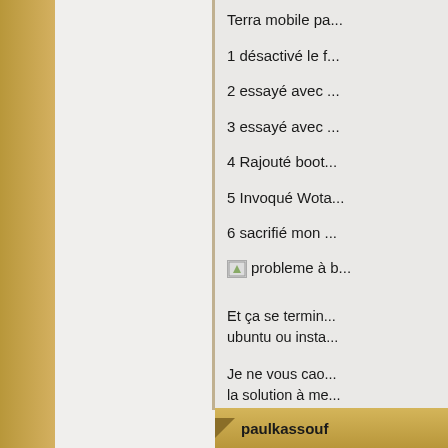Terra mobile pa...
1 désactivé le f...
2 essayé avec ...
3 essayé avec ...
4 Rajouté boot...
5 Invoqué Wota...
6 sacrifié mon ...
[Figure (other): Broken image icon labeled 'probleme à b...']
Et ça se termin... ubuntu ou insta...
Je ne vous cao... la solution à me...
paulkassouf